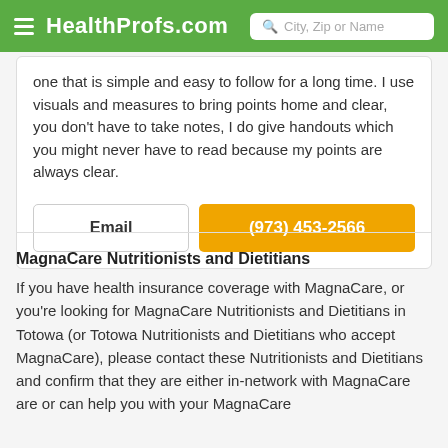HealthProfs.com | City, Zip or Name
one that is simple and easy to follow for a long time. I use visuals and measures to bring points home and clear, you don't have to take notes, I do give handouts which you might never have to read because my points are always clear.
Email
(973) 453-2566
MagnaCare Nutritionists and Dietitians
If you have health insurance coverage with MagnaCare, or you're looking for MagnaCare Nutritionists and Dietitians in Totowa (or Totowa Nutritionists and Dietitians who accept MagnaCare), please contact these Nutritionists and Dietitians and confirm that they are either in-network with MagnaCare are or can help you with your MagnaCare